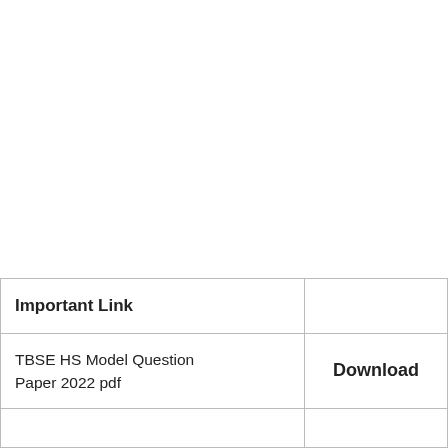| Important Link |  |
| --- | --- |
| TBSE HS Model Question Paper 2022 pdf | Download |
|  |  |